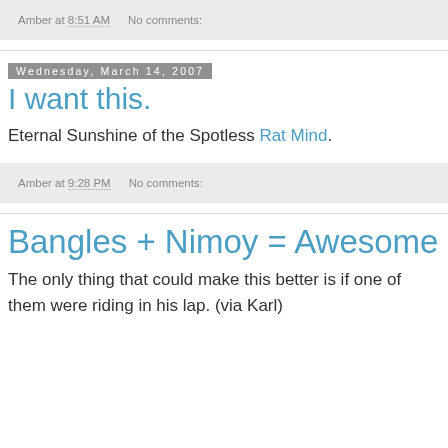Amber at 8:51 AM   No comments:
Wednesday, March 14, 2007
I want this.
Eternal Sunshine of the Spotless Rat Mind.
Amber at 9:28 PM   No comments:
Bangles + Nimoy = Awesome
The only thing that could make this better is if one of them were riding in his lap. (via Karl)